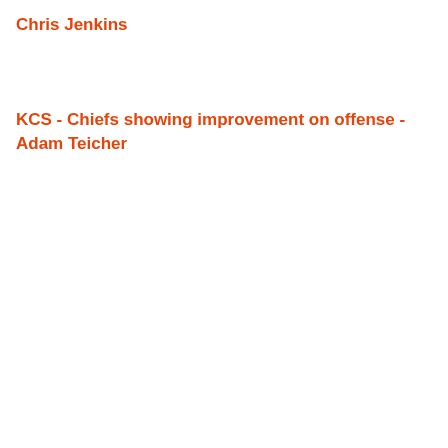Chris Jenkins
KCS - Chiefs showing improvement on offense - Adam Teicher